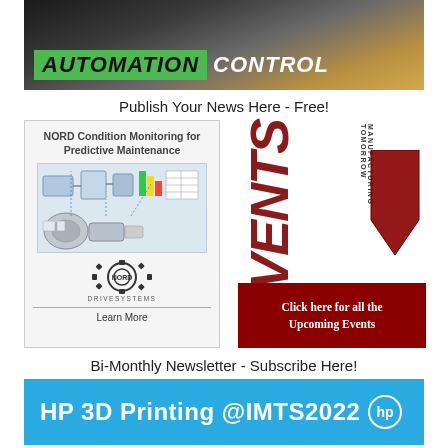[Figure (illustration): Automation Control banner image with dark industrial background, green AUTOMATION label and white CONTROL text]
Publish Your News Here - Free!
[Figure (illustration): NORD Condition Monitoring for Predictive Maintenance advertisement with gear/system diagram and NORD DRIVESYSTEMS logo with Learn More link]
[Figure (illustration): Manufacturing Tomorrow Events box with vertical EVENTS text in dark red, MANUFACTURING TOMORROW vertical text, arrow graphic, and dark red CTA button saying Click here for all the Upcoming Events]
Bi-Monthly Newsletter - Subscribe Here!
[Figure (illustration): HP 3D Printing @IMTS2022 with HP logo on blue background]